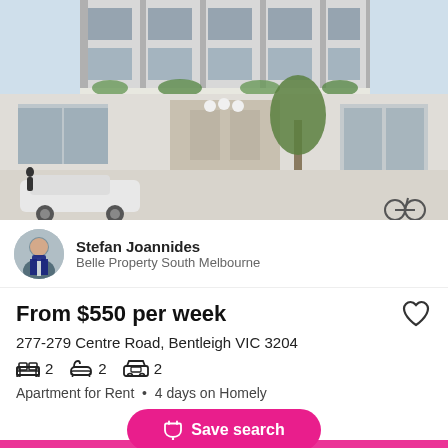[Figure (photo): Modern multi-storey apartment building exterior with glass facades, balconies with greenery, and street-level view with parked car and trees.]
Stefan Joannides
Belle Property South Melbourne
From $550 per week
277-279 Centre Road, Bentleigh VIC 3204
2 bedrooms  2 bathrooms  2 parking
Apartment for Rent  •  4 days on Homely
Save search